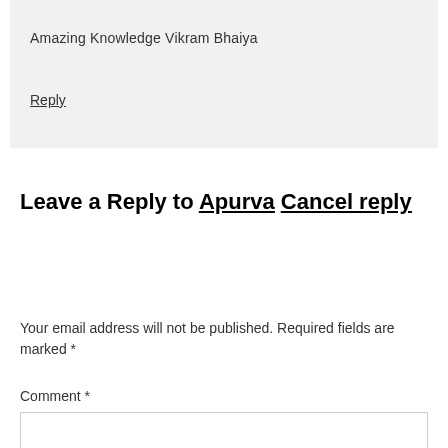Amazing Knowledge Vikram Bhaiya
Reply
Leave a Reply to Apurva Cancel reply
Your email address will not be published. Required fields are marked *
Comment *